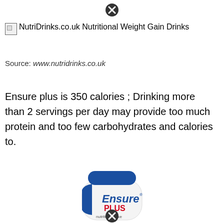[Figure (other): Close/dismiss button (X circle icon) at top center]
[Figure (other): Broken image placeholder with alt text: NutriDrinks.co.uk Nutritional Weight Gain Drinks]
Source: www.nutridrinks.co.uk
Ensure plus is 350 calories ; Drinking more than 2 servings per day may provide too much protein and too few carbohydrates and calories to.
[Figure (photo): Ensure Plus nutrition shake bottle with blue cap, showing the Ensure PLUS nutrition shake label with chocolate shake imagery]
[Figure (other): Close/dismiss button (X circle icon) at bottom center of bottle image]